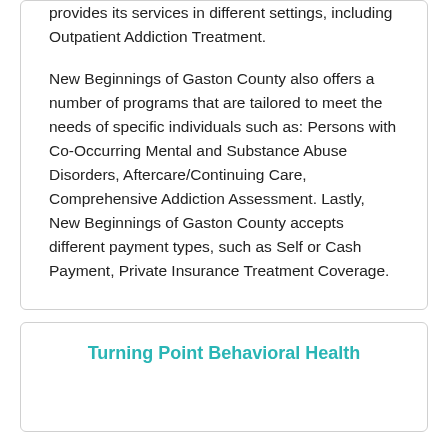provides its services in different settings, including Outpatient Addiction Treatment.

New Beginnings of Gaston County also offers a number of programs that are tailored to meet the needs of specific individuals such as: Persons with Co-Occurring Mental and Substance Abuse Disorders, Aftercare/Continuing Care, Comprehensive Addiction Assessment. Lastly, New Beginnings of Gaston County accepts different payment types, such as Self or Cash Payment, Private Insurance Treatment Coverage.
Turning Point Behavioral Health